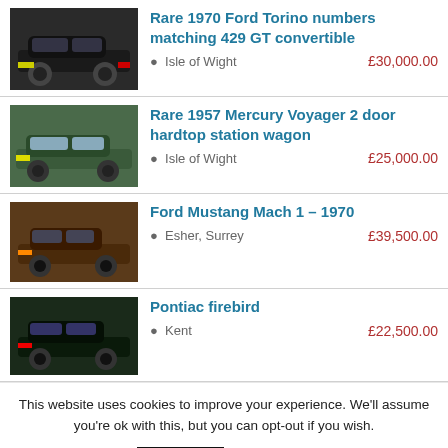Rare 1970 Ford Torino numbers matching 429 GT convertible | Isle of Wight | £30,000.00
Rare 1957 Mercury Voyager 2 door hardtop station wagon | Isle of Wight | £25,000.00
Ford Mustang Mach 1 – 1970 | Esher, Surrey | £39,500.00
Pontiac firebird | Kent | £22,500.00
This website uses cookies to improve your experience. We'll assume you're ok with this, but you can opt-out if you wish.